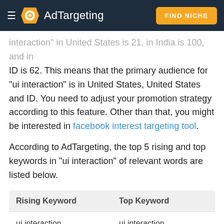AdTargeting | FIND NICHE
interaction" in United States is 21, in India is 100, and in ID is 62. This means that the primary audience for "ui interaction" is in United States, United States and ID. You need to adjust your promotion strategy according to this feature. Other than that, you might be interested in facebook interest targeting tool.
According to AdTargeting, the top 5 rising and top keywords in "ui interaction" of relevant words are listed below.
| Rising Keyword | Top Keyword |
| --- | --- |
| ui interaction | ui interaction |
| ui interaction design | ui interaction design |